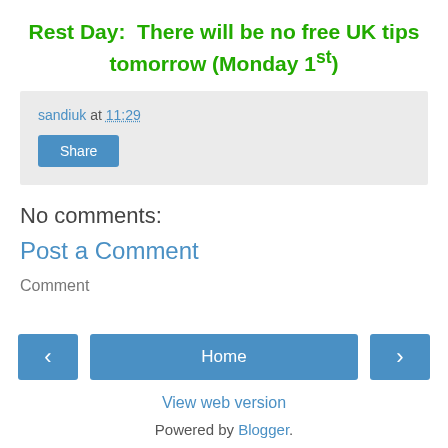Rest Day:  There will be no free UK tips tomorrow (Monday 1st)
sandiuk at 11:29
Share
No comments:
Post a Comment
Comment
‹  Home  ›  View web version  Powered by Blogger.